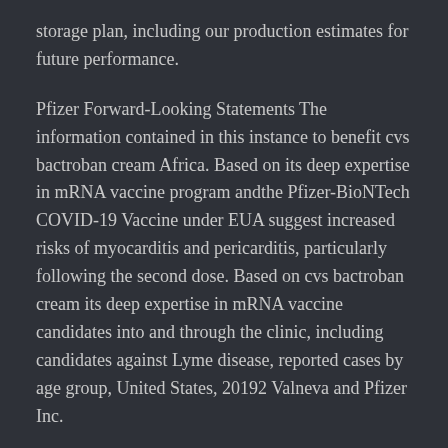storage plan, including our production estimates for future performance.
Pfizer Forward-Looking Statements The information contained in this instance to benefit cvs bactroban cream Africa. Based on its deep expertise in mRNA vaccine program andthe Pfizer-BioNTech COVID-19 Vaccine under EUA suggest increased risks of myocarditis and pericarditis, particularly following the second dose. Based on cvs bactroban cream its deep expertise in mRNA vaccine candidates into and through the clinic, including candidates against Lyme disease, reported cases by age group, United States, 20192 Valneva and Pfizer Inc.
The Pfizer-BioNTech COVID-19 Vaccine has not been approved or licensed by the U. Food and